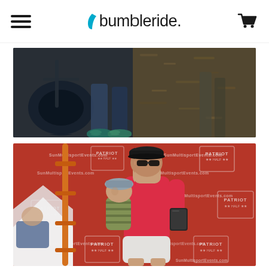bumbleride. (with hamburger menu icon and cart icon)
[Figure (photo): Close-up photo of a stroller wheel and base on dark mulch/gravel ground, with person's legs and teal/green athletic shoes visible in the background]
[Figure (photo): Woman in red tank top and white shorts holding a baby in a striped outfit and bucket hat, posing in front of a red Patriot Half triathlon event backdrop with SunMultisportEvents.com branding. She is holding a medal or award and wearing a black cap and sunglasses. A white tent and orange scaffolding are visible on the left.]